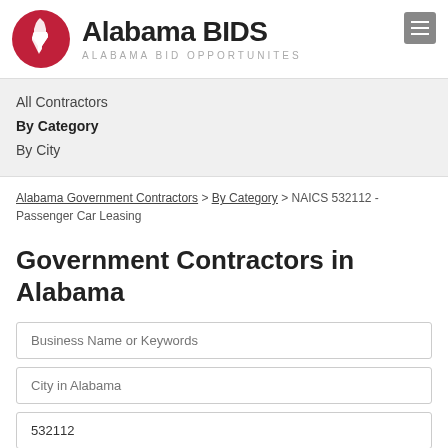[Figure (logo): Alabama BIDS logo with red circle containing Alabama state silhouette, site title 'Alabama BIDS' and subtitle 'ALABAMA BID OPPORTUNITES']
All Contractors
By Category
By City
Alabama Government Contractors > By Category > NAICS 532112 - Passenger Car Leasing
Government Contractors in Alabama
Business Name or Keywords
City in Alabama
532112